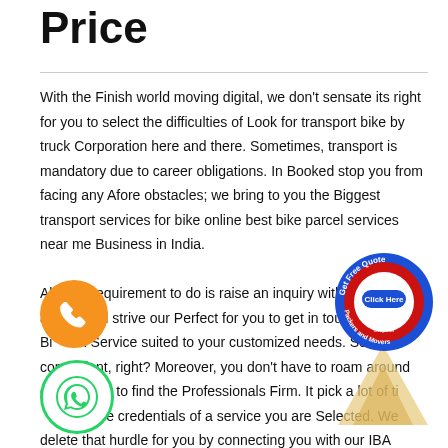Price
With the Finish world moving digital, we don't sensate its right for you to select the difficulties of Look for transport bike by truck Corporation here and there. Sometimes, transport is mandatory due to career obligations. In Booked stop you from facing any Afore obstacles; we bring to you the Biggest transport services for bike online best bike parcel services near me Business in India.

All you Requirement to do is raise an inquiry with us online and we will strive our Perfect for you to get in touch with a Bike on Service suited to your customized needs. So convenient, right? Moreover, you don't have to roam around everywhere to find the Professionals Firm. It pick a lot of time to Verify the credentials of a service you are Selected. We delete that hurdle for you by connecting you with our IBA approved bike
[Figure (logo): Orange circle phone icon button]
[Figure (logo): WhatsApp green circle phone icon]
[Figure (logo): Red and blue circular badge: Get Free Quote, Click Here, No Commission, NO FROUD, Only For Packers and Movers]
[Figure (illustration): Beige/tan upward arrow triangle shape]